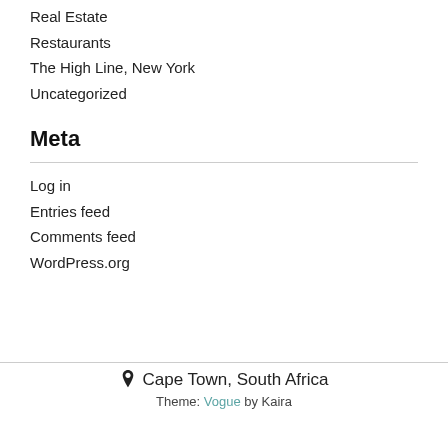Real Estate
Restaurants
The High Line, New York
Uncategorized
Meta
Log in
Entries feed
Comments feed
WordPress.org
Cape Town, South Africa
Theme: Vogue by Kaira